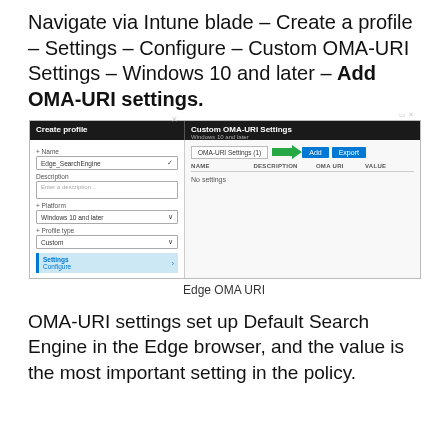Navigate via Intune blade – Create a profile – Settings – Configure – Custom OMA-URI Settings – Windows 10 and later – Add OMA-URI settings.
[Figure (screenshot): Screenshot showing Microsoft Intune 'Create profile' blade on the left and 'Custom OMA-URI Settings' pane on the right with an Add button highlighted by a green arrow. The right pane shows columns NAME, DESCRIPTION, OMA URI, VALUE with 'No settings' listed.]
Edge OMA URI
OMA-URI settings set up Default Search Engine in the Edge browser, and the value is the most important setting in the policy.